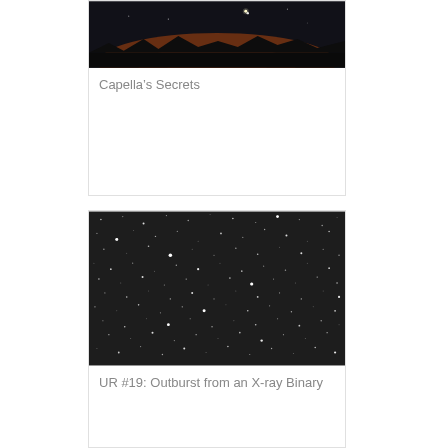[Figure (photo): Night sky photograph showing a dark landscape silhouette at bottom with twilight orange/red glow on the horizon and a faint star or planet visible in the dark blue sky above]
Capella’s Secrets
[Figure (photo): Astrophotograph showing a dense star field against a dark gray/black background, with numerous white pinpoint stars of varying brightness scattered across the frame]
UR #19: Outburst from an X-ray Binary